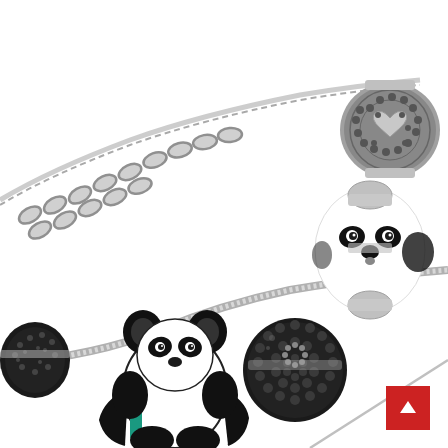[Figure (photo): Close-up product photo of a panda-themed charm bracelet on a white background. The silver bracelet features multiple charms including: a black and white panda bear figurine holding a teal/green object, a large white murano glass bead with black panda face design, a dark silver bead encrusted with black crystals/rhinestones, a silver filigree bead with heart cutout design, and additional black crystal-encrusted beads. A silver safety chain loops at the top left. A diagonal gray line appears at the bottom right corner.]
[Figure (other): Red square button with a white upward-pointing arrow icon, positioned at the bottom-right corner of the page.]